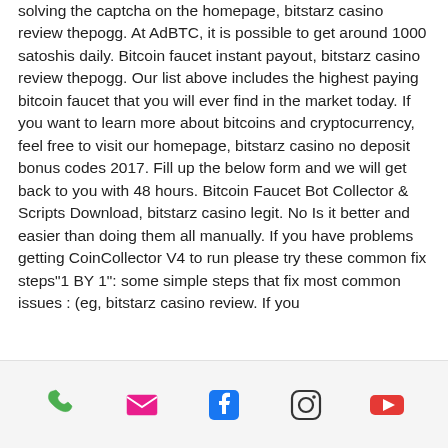solving the captcha on the homepage, bitstarz casino review thepogg. At AdBTC, it is possible to get around 1000 satoshis daily. Bitcoin faucet instant payout, bitstarz casino review thepogg. Our list above includes the highest paying bitcoin faucet that you will ever find in the market today. If you want to learn more about bitcoins and cryptocurrency, feel free to visit our homepage, bitstarz casino no deposit bonus codes 2017. Fill up the below form and we will get back to you with 48 hours. Bitcoin Faucet Bot Collector & Scripts Download, bitstarz casino legit. No Is it better and easier than doing them all manually. If you have problems getting CoinCollector V4 to run please try these common fix steps"1 BY 1": some simple steps that fix most common issues : (eg, bitstarz casino review. If you
phone | email | facebook | instagram | youtube